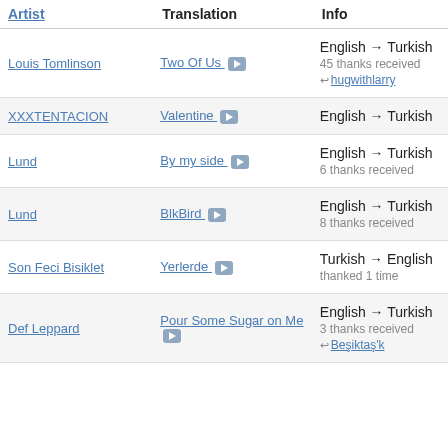| Artist | Translation | Info |
| --- | --- | --- |
| Louis Tomlinson | Two Of Us | English → Turkish
45 thanks received
hugwithlarry |
| XXXTENTACION | Valentine | English → Turkish |
| Lund | By my side | English → Turkish
6 thanks received |
| Lund | BlkBird | English → Turkish
8 thanks received |
| Son Feci Bisiklet | Yerlerde | Turkish → English
thanked 1 time |
| Def Leppard | Pour Some Sugar on Me | English → Turkish
3 thanks received
Beşiktaş'k |